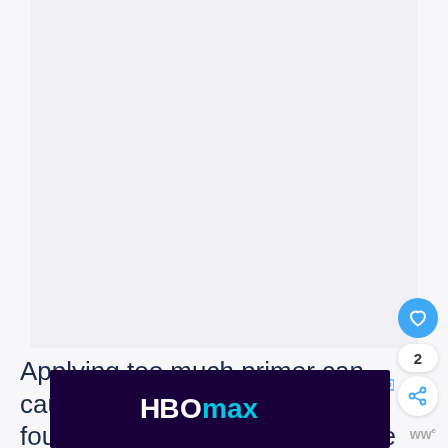[Figure (photo): Large image area, mostly blank/light purple-gray background, part of a web article page]
[Figure (infographic): Like/heart button (blue circle with heart icon), count of 2, and share button (white circle with share icon) on the right side of the page]
Applying too much primer can cause your foundation to look uneven, so be sure to use...applied.
[Figure (screenshot): HBO Max advertisement banner in dark purple with HBO max logo, play and close buttons, and ww logo at bottom right]